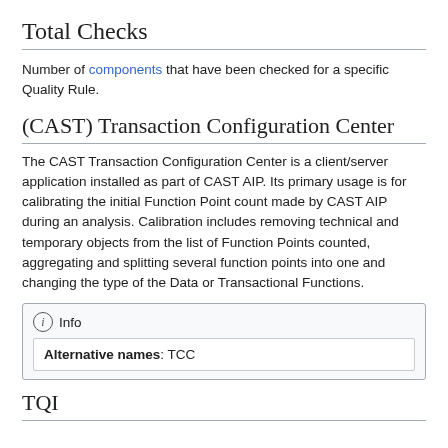Total Checks
Number of components that have been checked for a specific Quality Rule.
(CAST) Transaction Configuration Center
The CAST Transaction Configuration Center is a client/server application installed as part of CAST AIP. Its primary usage is for calibrating the initial Function Point count made by CAST AIP during an analysis. Calibration includes removing technical and temporary objects from the list of Function Points counted, aggregating and splitting several function points into one and changing the type of the Data or Transactional Functions.
Info
Alternative names: TCC
TQI